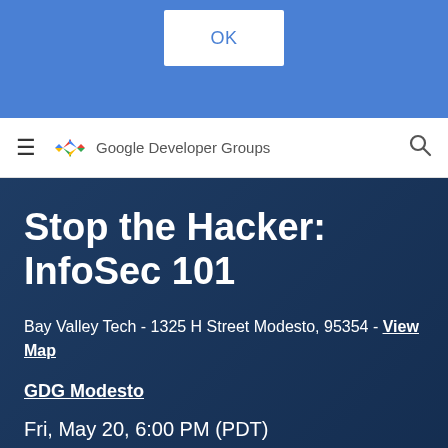[Figure (screenshot): Blue dialog/modal overlay with white OK button]
Google Developer Groups
Stop the Hacker: InfoSec 101
Bay Valley Tech - 1325 H Street Modesto, 95354 - View Map
GDG Modesto
Fri, May 20, 6:00 PM (PDT)
27 RSVP'ed